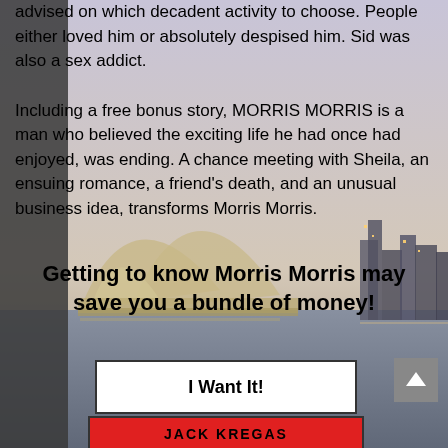advised on which decadent activity to choose. People either loved him or absolutely despised him. Sid was also a sex addict.

Including a free bonus story, MORRIS MORRIS is a man who believed the exciting life he had once had enjoyed, was ending. A chance meeting with Sheila, an ensuing romance, a friend's death, and an unusual business idea, transforms Morris Morris.
Getting to know Morris Morris may save you a bundle of money!
I Want It!
JACK KREGAS